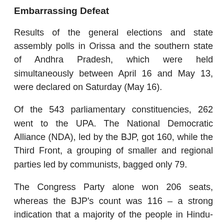Embarrassing Defeat
Results of the general elections and state assembly polls in Orissa and the southern state of Andhra Pradesh, which were held simultaneously between April 16 and May 13, were declared on Saturday (May 16).
Of the 543 parliamentary constituencies, 262 went to the UPA. The National Democratic Alliance (NDA), led by the BJP, got 160, while the Third Front, a grouping of smaller and regional parties led by communists, bagged only 79.
The Congress Party alone won 206 seats, whereas the BJP's count was 116 – a strong indication that a majority of the people in Hindu-majority India are against Hindu extremism.